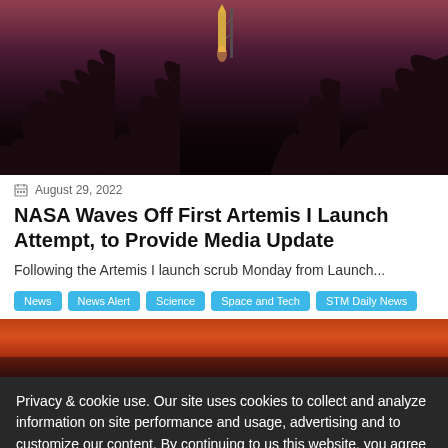[Figure (photo): Rocket on launch pad at night with purple/magenta sky and dark tree silhouettes in foreground]
August 29, 2022
NASA Waves Off First Artemis I Launch Attempt, to Provide Media Update
Following the Artemis I launch scrub Monday from Launch...
News | News Alert | Science | Space and Tech | STM Daily News
[Figure (photo): Partial photo of sunset with orange and red sky]
Privacy & cookie use. Our site uses cookies to collect and analyze information on site performance and usage, advertising and to customize our content. By continuing to us this website, you agree to their use.
OKAY    MORE INFO